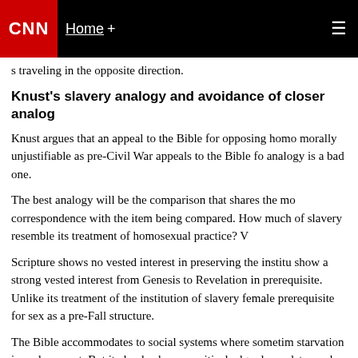CNN | Home +
s traveling in the opposite direction.
Knust's slavery analogy and avoidance of closer analog
Knust argues that an appeal to the Bible for opposing homo morally unjustifiable as pre-Civil War appeals to the Bible fo analogy is a bad one.
The best analogy will be the comparison that shares the mo correspondence with the item being compared. How much of slavery resemble its treatment of homosexual practice? V
Scripture shows no vested interest in preserving the institu show a strong vested interest from Genesis to Revelation in prerequisite. Unlike its treatment of the institution of slavery female prerequisite for sex as a pre-Fall structure.
The Bible accommodates to social systems where sometim starvation is enslavement. But it clearly shows a critical edg release dates and the right of kinship buyback; requiring th as slaves; and reminding Israelites that God had redeeme